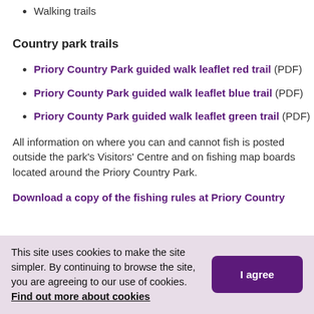Walking trails
Country park trails
Priory Country Park guided walk leaflet red trail (PDF)
Priory County Park guided walk leaflet blue trail (PDF)
Priory County Park guided walk leaflet green trail (PDF)
All information on where you can and cannot fish is posted outside the park's Visitors' Centre and on fishing map boards located around the Priory Country Park.
Download a copy of the fishing rules at Priory Country
This site uses cookies to make the site simpler. By continuing to browse the site, you are agreeing to our use of cookies. Find out more about cookies